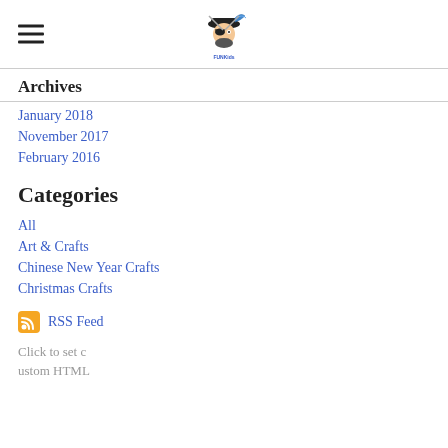[Logo: FunKids blog with pirate character]
Archives
January 2018
November 2017
February 2016
Categories
All
Art & Crafts
Chinese New Year Crafts
Christmas Crafts
RSS Feed
Click to set custom HTML